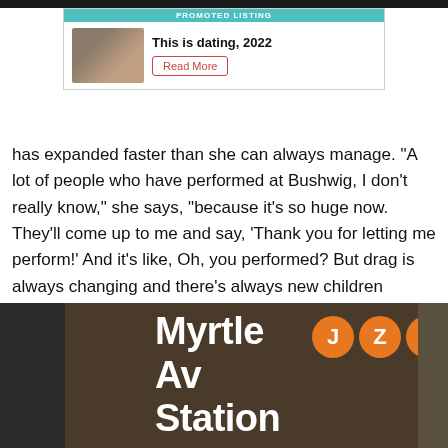[Figure (other): Promoted listing advertisement banner for 'This is dating, 2022' with a Read More button and couple photo thumbnail]
has expanded faster than she can always manage. "A lot of people who have performed at Bushwig, I don't really know," she says, "because it's so huge now. They'll come up to me and say, 'Thank you for letting me perform!' And it's like, Oh, you performed? But drag is always changing and there's always new children coming in."
Though she's been in this industry full-time for six years, she hasn't lost sight of what's important—or where home is. "This year is going to be Brooklyn fucking royalty," she says, "and family."
[Figure (photo): Photo of Myrtle Av Station subway sign with J, Z, and M train circle indicators on a brown background]